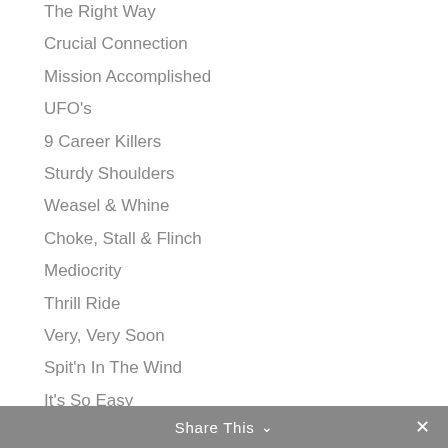The Right Way
Crucial Connection
Mission Accomplished
UFO's
9 Career Killers
Sturdy Shoulders
Weasel & Whine
Choke, Stall & Flinch
Mediocrity
Thrill Ride
Very, Very Soon
Spit'n In The Wind
It's So Easy
Share This  ∨  ✕